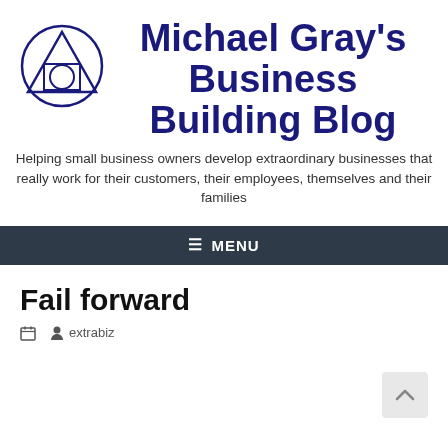[Figure (logo): Circular logo with triangle and circle shapes in dark blue/navy, representing Michael Gray's Business Building Blog]
Michael Gray's Business Building Blog
Helping small business owners develop extraordinary businesses that really work for their customers, their employees, themselves and their families
≡ MENU
Fail forward
extrabiz